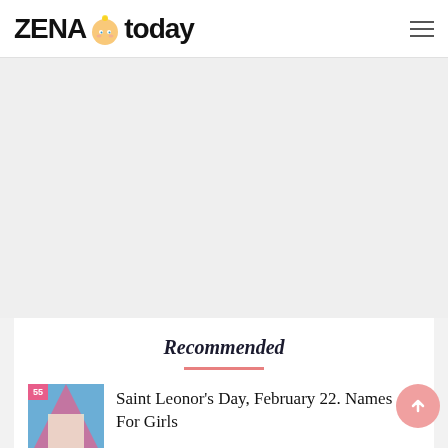ZENA today
[Figure (other): Large advertisement/empty space area below header]
Recommended
[Figure (photo): Thumbnail image for article about Saint Leonor's Day with a pink badge overlay]
Saint Leonor's Day, February 22. Names For Girls